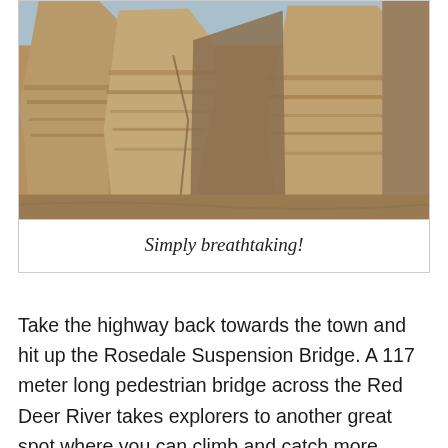[Figure (photo): Photograph of hoodoo rock formations — tall sandstone pillars with layered horizontal banding in tan and brown tones, set against a clear sky. The eroded badlands landscape fills the frame.]
Simply breathtaking!
Take the highway back towards the town and hit up the Rosedale Suspension Bridge. A 117 meter long pedestrian bridge across the Red Deer River takes explorers to another great spot where you can climb and catch more amazing views. There are also some remains of an old coal mining area that you can check out. A baby carrier for the young ones is